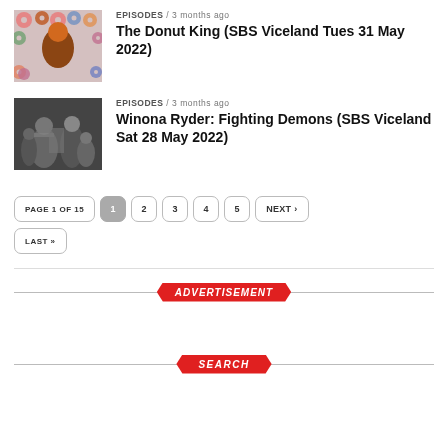[Figure (photo): Photo of smiling man in brown shirt against colorful donut background]
EPISODES / 3 months ago
The Donut King (SBS Viceland Tues 31 May 2022)
[Figure (photo): Black and white photo of people dancing or socializing]
EPISODES / 3 months ago
Winona Ryder: Fighting Demons (SBS Viceland Sat 28 May 2022)
PAGE 1 OF 15  1  2  3  4  5  NEXT ›  LAST »
ADVERTISEMENT
SEARCH